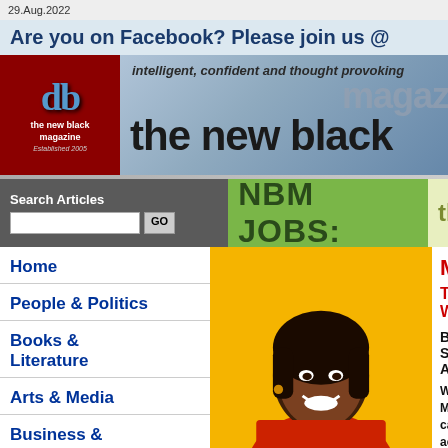29.Aug.2022
Are you on Facebook? Please join us @
[Figure (logo): The New Black Magazine logo with 'db' letters in blue on dark red background, text 'the new black magazine Established 2005']
[Figure (illustration): The New Black magazine banner with tagline 'intelligent, confident and thought provoking', 'magazine' in grey watermark, 'the new black' in large bold black text]
Search Articles
NBM JOBS:
the lat
Home
People & Politics
Books & Literature
Arts & Media
Business &
[Figure (photo): Photo of a smiling Black woman with short dark hair, wearing a red top, on a yellow/orange background]
Malorie
The Writ
By Shola
When Ma careers ac English te College, S